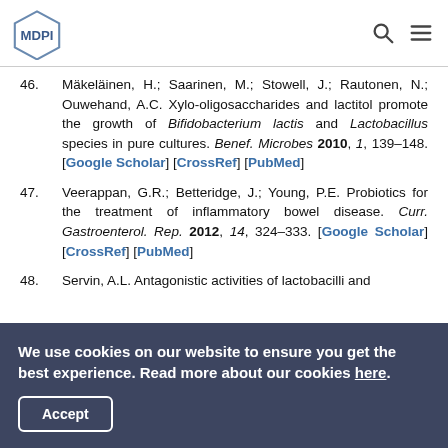MDPI
46. Mäkeläinen, H.; Saarinen, M.; Stowell, J.; Rautonen, N.; Ouwehand, A.C. Xylo-oligosaccharides and lactitol promote the growth of Bifidobacterium lactis and Lactobacillus species in pure cultures. Benef. Microbes 2010, 1, 139–148. [Google Scholar] [CrossRef] [PubMed]
47. Veerappan, G.R.; Betteridge, J.; Young, P.E. Probiotics for the treatment of inflammatory bowel disease. Curr. Gastroenterol. Rep. 2012, 14, 324–333. [Google Scholar] [CrossRef] [PubMed]
48. Servin, A.L. Antagonistic activities of lactobacilli and
We use cookies on our website to ensure you get the best experience. Read more about our cookies here.
Accept